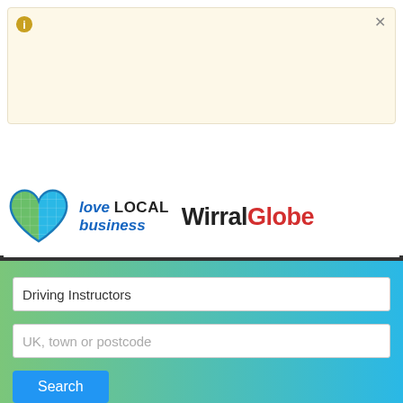[Figure (screenshot): Info notification box with a gold info icon (i) in the top-left and an x close button in the top-right, beige/cream background]
[Figure (screenshot): Dark grey navigation bar with a three-line hamburger menu icon (blue lines) on the right]
[Figure (logo): Love Local Business logo (heart icon in green and blue) next to WirralGlobe text logo in black and red]
[Figure (screenshot): Search section with green-to-blue gradient background containing two input fields: 'Driving Instructors' and 'UK, town or postcode', plus a blue Search button]